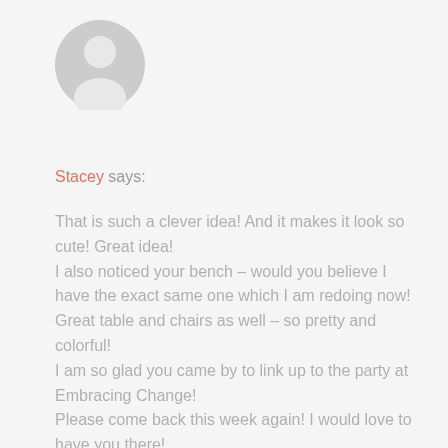[Figure (illustration): Default grey user avatar icon — circular head and shoulders silhouette]
Stacey says:
That is such a clever idea! And it makes it look so cute! Great idea!
I also noticed your bench – would you believe I have the exact same one which I am redoing now!
Great table and chairs as well – so pretty and colorful!
I am so glad you came by to link up to the party at Embracing Change!
Please come back this week again! I would love to have you there!
Stacey of Embracing Change